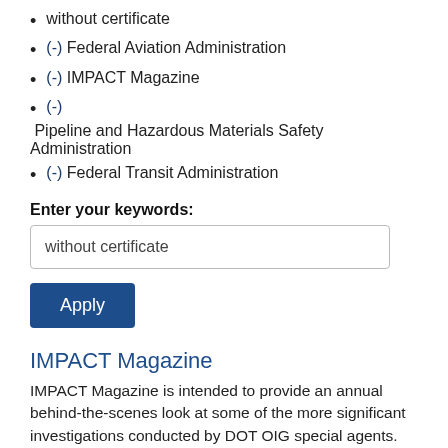without certificate
(-) Federal Aviation Administration
(-) IMPACT Magazine
(-) Pipeline and Hazardous Materials Safety Administration
(-) Federal Transit Administration
Enter your keywords:
without certificate
Apply
IMPACT Magazine
IMPACT Magazine is intended to provide an annual behind-the-scenes look at some of the more significant investigations conducted by DOT OIG special agents. This publication highlights the unique